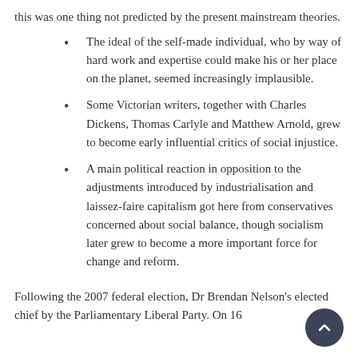this was one thing not predicted by the present mainstream theories.
The ideal of the self-made individual, who by way of hard work and expertise could make his or her place on the planet, seemed increasingly implausible.
Some Victorian writers, together with Charles Dickens, Thomas Carlyle and Matthew Arnold, grew to become early influential critics of social injustice.
A main political reaction in opposition to the adjustments introduced by industrialisation and laissez-faire capitalism got here from conservatives concerned about social balance, though socialism later grew to become a more important force for change and reform.
Following the 2007 federal election, Dr Brendan Nelson's elected chief by the Parliamentary Liberal Party. On 16